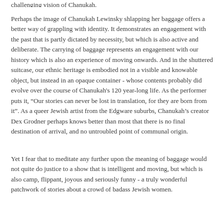challenging vision of Chanukah.
Perhaps the image of Chanukah Lewinsky shlapping her baggage offers a better way of grappling with identity. It demonstrates an engagement with the past that is partly dictated by necessity, but which is also active and deliberate. The carrying of baggage represents an engagement with our history which is also an experience of moving onwards. And in the shuttered suitcase, our ethnic heritage is embodied not in a visible and knowable object, but instead in an opaque container - whose contents probably did evolve over the course of Chanukah's 120 year-long life. As the performer puts it, “Our stories can never be lost in translation, for they are born from it”. As a queer Jewish artist from the Edgware suburbs, Chanukah's creator Dex Grodner perhaps knows better than most that there is no final destination of arrival, and no untroubled point of communal origin.
Yet I fear that to meditate any further upon the meaning of baggage would not quite do justice to a show that is intelligent and moving, but which is also camp, flippant, joyous and seriously funny - a truly wonderful patchwork of stories about a crowd of badass Jewish women.